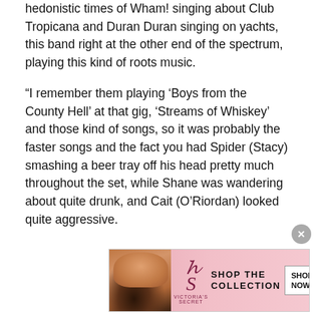hedonistic times of Wham! singing about Club Tropicana and Duran Duran singing on yachts, this band right at the other end of the spectrum, playing this kind of roots music.
“I remember them playing ‘Boys from the County Hell’ at that gig, ‘Streams of Whiskey’ and those kind of songs, so it was probably the faster songs and the fact you had Spider (Stacy) smashing a beer tray off his head pretty much throughout the set, while Shane was wandering about quite drunk, and Cait (O’Riordan) looked quite aggressive.
“The whole thing was very visual, in keeping with a lot of other Stiff Records acts. That’s probably the one thing they had in common with the record label. Stiff loved the...
Advertisements
[Figure (other): Victoria's Secret advertisement banner with model, VS logo, 'SHOP THE COLLECTION' text and 'SHOP NOW' button on pink background]